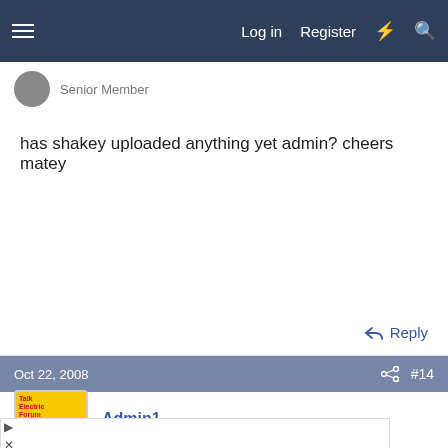Log in  Register
has shakey uploaded anything yet admin? cheers matey
↩ Reply
Oct 22, 2008  #14
Admin1
Forum Founder
[Figure (screenshot): Advertisement: Avant-Garde Luxury SUV, Don Beyer Volvo Cars of D... with Land Rover logo and navigation icon]